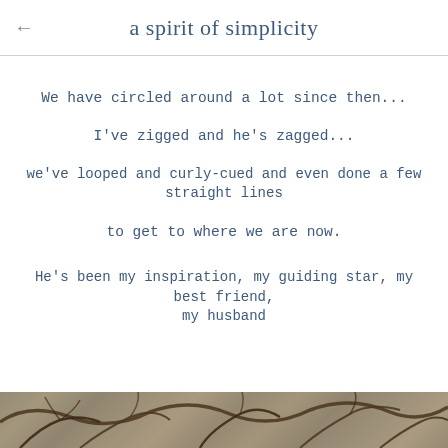a spirit of simplicity
We have circled around a lot since then...
I've zigged and he's zagged...
we've looped and curly-cued and even done a few straight lines
to get to where we are now.
He's been my inspiration, my guiding star, my best friend, my husband
[Figure (photo): A photo strip at the bottom showing tree branches against a light sky, partially visible]